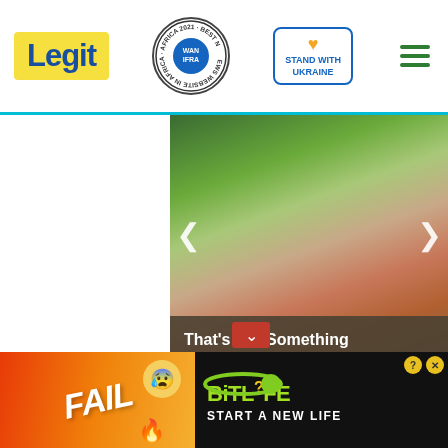[Figure (logo): Legit.ng website header with Legit logo in yellow box, WAN-IFRA 2021 Best News Website in Africa badge, Stand With Ukraine badge, and hamburger menu icon]
[Figure (photo): Slideshow with photo of excited man (Adam Sandler) raising arm, with left/right navigation arrows, dark overlay with headline text and Brainberries source label, blue circle arrow CTA button]
That’s Not Something Any Regular Actor Could Even Dream About
Brainberries
[Figure (screenshot): Video overlay with purple background, text INVITED ME TO BE HER BOYFRIEND, couple photo, play button. Close X button on left side.]
n made this known in a meke Lawson, its national of Nigerian youths for the non- inary elections processes.
[Figure (infographic): BitLife advertisement banner with FAIL text, cartoon character, flames, and BitLife logo with START A NEW LIFE tagline on dark background]